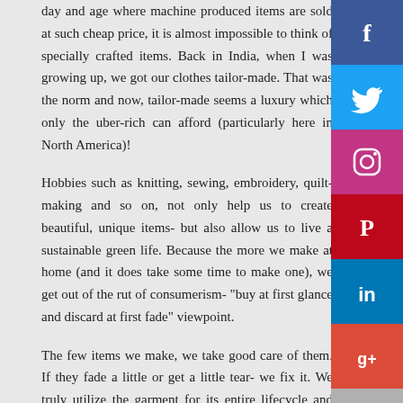people realize the importance of hobbies and crafts. In today's day and age where machine produced items are sold at such cheap price, it is almost impossible to think of specially crafted items. Back in India, when I was growing up, we got our clothes tailor-made. That was the norm and now, tailor-made seems a luxury which only the uber-rich can afford (particularly here in North America)!

Hobbies such as knitting, sewing, embroidery, quilt-making and so on, not only help us to create beautiful, unique items- but also allow us to live a sustainable green life. Because the more we make at home (and it does take some time to make one), we get out of the rut of consumerism- "buy at first glance and discard at first fade" viewpoint.

The few items we make, we take good care of them. If they fade a little or get a little tear- we fix it. We truly utilize the garment for its entire lifecycle and not garbage it as soon as a new style starts, or it shows the first signs of wear or tear.
[Figure (infographic): Social media sharing buttons sidebar on the right: Facebook (blue), Twitter (light blue), Instagram (pink/magenta), Pinterest (red), LinkedIn (blue), Google+ (red-orange), More (gray with ellipsis)]